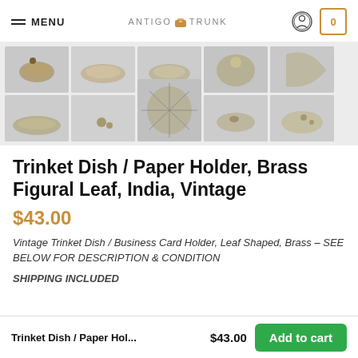MENU | ANTIGO TRUNK
[Figure (photo): Two rows of thumbnail images showing a brass figural leaf trinket dish / paper holder from various angles. Silver/brass colored leaf-shaped dishes on light grey background.]
Trinket Dish / Paper Holder, Brass Figural Leaf, India, Vintage
$43.00
Vintage Trinket Dish / Business Card Holder, Leaf Shaped, Brass – SEE BELOW FOR DESCRIPTION & CONDITION
SHIPPING INCLUDED
Trinket Dish / Paper Hol... $43.00 Add to cart